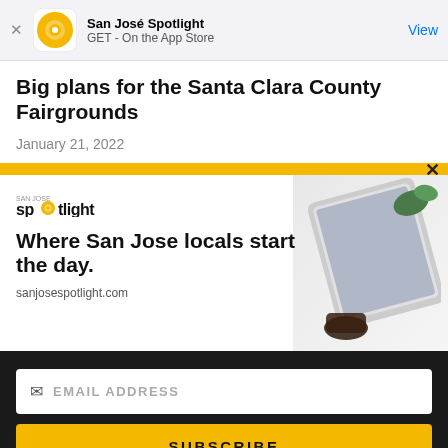San José Spotlight | GET - On the App Store | View
Big plans for the Santa Clara County Fairgrounds
January 21, 2022
[Figure (advertisement): San José Spotlight advertisement with logo, tagline 'Where San Jose locals start the day.' and website sanjosespotlight.com, with image of tablet and coffee]
EMAIL ADDRESS
SUBSCRIBE
Thanks, I'm not interested or already a subscriber